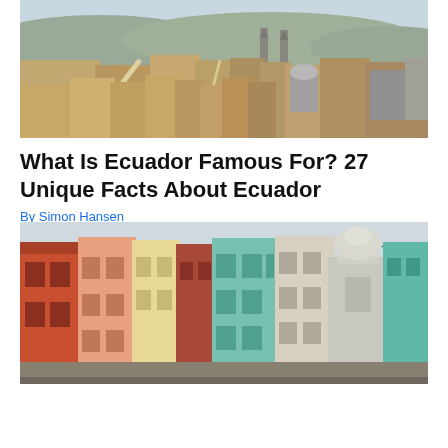[Figure (photo): Aerial cityscape of Quito, Ecuador, showing dense urban buildings with a large gothic cathedral (Basilica del Voto Nacional) in the background and hills beyond]
What Is Ecuador Famous For? 27 Unique Facts About Ecuador
By Simon Hansen
[Figure (photo): Street-level view of colorful colonial buildings with a domed capitol building visible in the background, likely Havana, Cuba]
Leesburg  OPEN  10AM–9PM  241 Fort Evans Rd NE, Leesburg